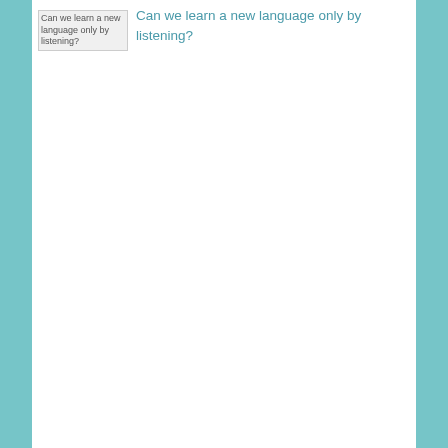Can we learn a new language only by listening?
What the British say... and what they mean...
About me and about this blog
The importance of reading for multilingual children
Why aren't I instead of amn't I?
How many languages can a child learn?